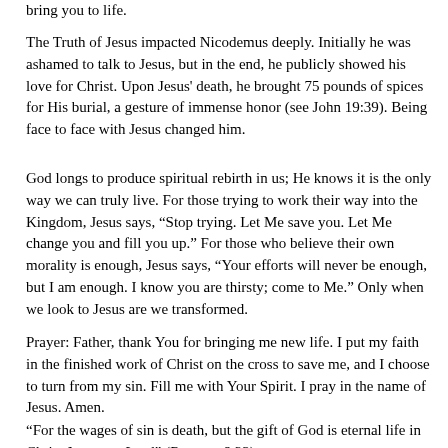bring you to life.
The Truth of Jesus impacted Nicodemus deeply. Initially he was ashamed to talk to Jesus, but in the end, he publicly showed his love for Christ. Upon Jesus' death, he brought 75 pounds of spices for His burial, a gesture of immense honor (see John 19:39). Being face to face with Jesus changed him.
God longs to produce spiritual rebirth in us; He knows it is the only way we can truly live. For those trying to work their way into the Kingdom, Jesus says, “Stop trying. Let Me save you. Let Me change you and fill you up.” For those who believe their own morality is enough, Jesus says, “Your efforts will never be enough, but I am enough. I know you are thirsty; come to Me.” Only when we look to Jesus are we transformed.
Prayer: Father, thank You for bringing me new life. I put my faith in the finished work of Christ on the cross to save me, and I choose to turn from my sin. Fill me with Your Spirit. I pray in the name of Jesus. Amen.
“For the wages of sin is death, but the gift of God is eternal life in Christ Jesus our Lord” (Romans 6:23).